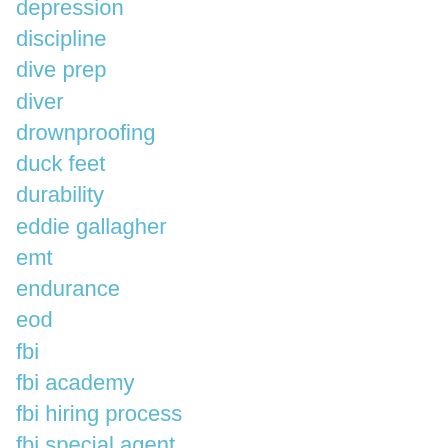depression
discipline
dive prep
diver
drownproofing
duck feet
durability
eddie gallagher
emt
endurance
eod
fbi
fbi academy
fbi hiring process
fbi special agent